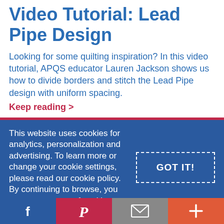Video Tutorial: Lead Pipe Design
Looking for some quilting inspiration? In this video tutorial, APQS educator Lauren Jackson shows us how to divide borders and stitch the Lead Pipe design with uniform spacing.
Keep reading >
This website uses cookies for analytics, personalization and advertising. To learn more or change your cookie settings, please read our cookie policy. By continuing to browse, you agree to our use of cookies.
GOT IT!
Facebook | Pinterest | Email | More